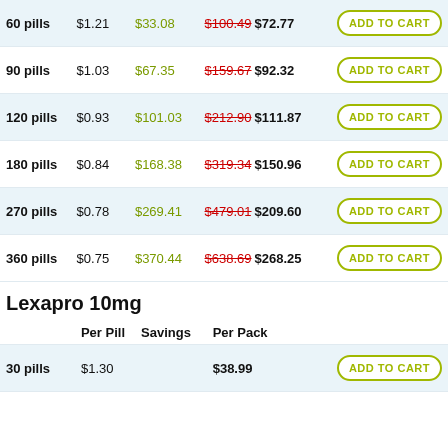|  | Per Pill | Savings | Per Pack |  |
| --- | --- | --- | --- | --- |
| 60 pills | $1.21 | $33.08 | $100.49 $72.77 | ADD TO CART |
| 90 pills | $1.03 | $67.35 | $159.67 $92.32 | ADD TO CART |
| 120 pills | $0.93 | $101.03 | $212.90 $111.87 | ADD TO CART |
| 180 pills | $0.84 | $168.38 | $319.34 $150.96 | ADD TO CART |
| 270 pills | $0.78 | $269.41 | $479.01 $209.60 | ADD TO CART |
| 360 pills | $0.75 | $370.44 | $638.69 $268.25 | ADD TO CART |
Lexapro 10mg
|  | Per Pill | Savings | Per Pack |  |
| --- | --- | --- | --- | --- |
| 30 pills | $1.30 |  | $38.99 | ADD TO CART |